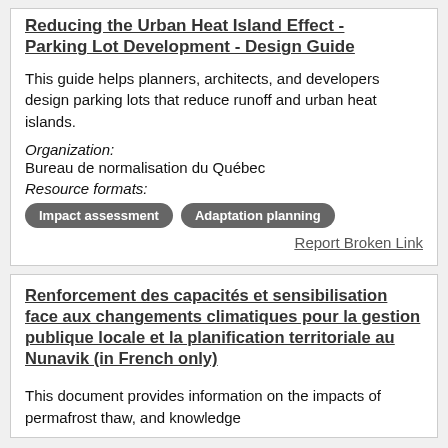Reducing the Urban Heat Island Effect - Parking Lot Development - Design Guide
This guide helps planners, architects, and developers design parking lots that reduce runoff and urban heat islands.
Organization: Bureau de normalisation du Québec
Resource formats:
Impact assessment   Adaptation planning
Report Broken Link
Renforcement des capacités et sensibilisation face aux changements climatiques pour la gestion publique locale et la planification territoriale au Nunavik (in French only)
This document provides information on the impacts of permafrost thaw, and knowledge